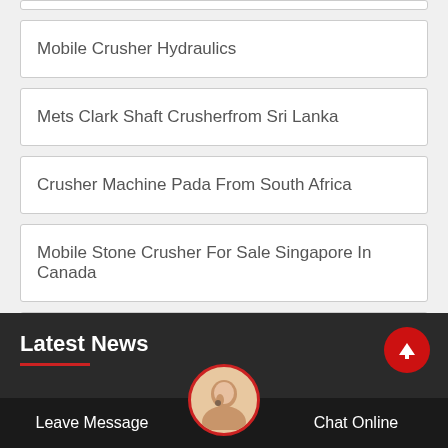Mobile Crusher Hydraulics
Mets Clark Shaft Crusherfrom Sri Lanka
Crusher Machine Pada From South Africa
Mobile Stone Crusher For Sale Singapore In Canada
Motorised Grinding Spindle Manufacturer In Germany
Latest News
Leave Message
Chat Online
Ferro High Chrome Grinding Media Ball Video Clip